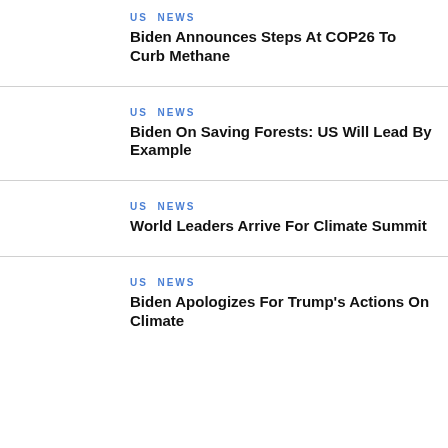US NEWS
Biden Announces Steps At COP26 To Curb Methane
US NEWS
Biden On Saving Forests: US Will Lead By Example
US NEWS
World Leaders Arrive For Climate Summit
US NEWS
Biden Apologizes For Trump's Actions On Climate